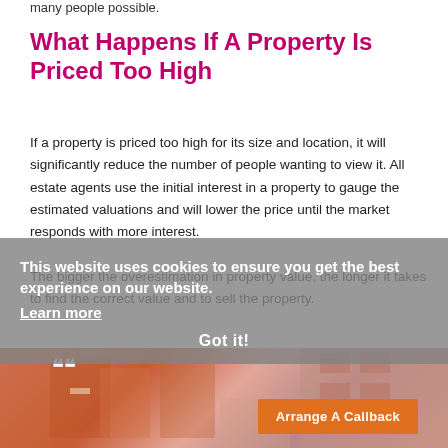many people possible.
What Happens If A Property Is Priced Too High
If a property is priced too high for its size and location, it will significantly reduce the number of people wanting to view it. All estate agents use the initial interest in a property to gauge the estimated valuations and will lower the price until the market responds with more interest.

The bigger the overestimation in property value, the longer it takes to find the correct value and to sell the property.
This website uses cookies to ensure you get the best experience on our website. Learn more
Got it!
[Figure (photo): Interior room photo showing wooden chairs and kitchen area with pink/terracotta tones]
Arrange A Callback